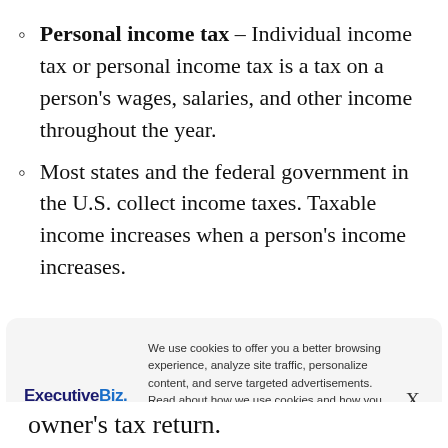Personal income tax – Individual income tax or personal income tax is a tax on a person's wages, salaries, and other income throughout the year.
Most states and the federal government in the U.S. collect income taxes. Taxable income increases when a person's income increases.
[Figure (screenshot): Cookie consent overlay from ExecutiveBiz website. Shows ExecutiveBiz logo on the left, cookie policy text in the center, and an X close button on the right.]
owner's tax return.